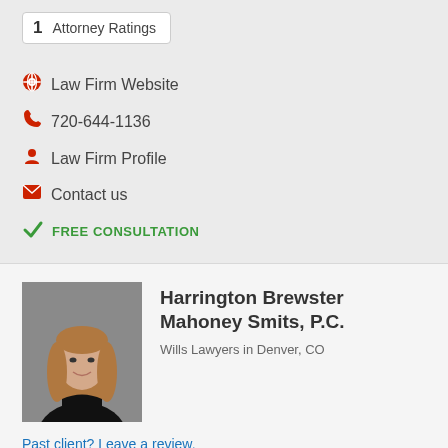1   Attorney Ratings
Law Firm Website
720-644-1136
Law Firm Profile
Contact us
FREE CONSULTATION
[Figure (photo): Professional headshot of a woman with long blonde hair wearing a black top, against a gray background]
Harrington Brewster Mahoney Smits, P.C.
Wills Lawyers in Denver, CO
Past client? Leave a review.